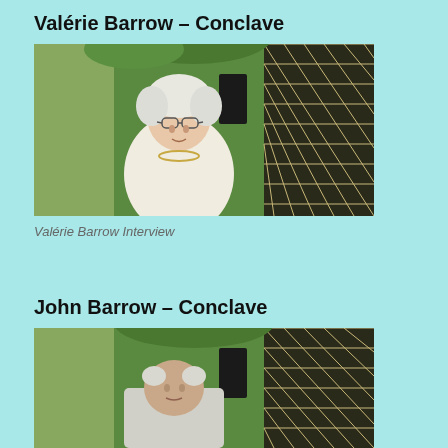Valérie Barrow – Conclave
[Figure (photo): Elderly woman with white hair and glasses, wearing a white top and necklace, seated outdoors in front of a green wall with lattice/trellis, lush green plants above]
Valérie Barrow Interview
John Barrow – Conclave
[Figure (photo): Elderly man partially visible, same outdoor green wall and lattice background as previous photo]